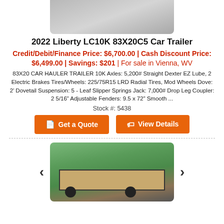[Figure (photo): Top portion of a car trailer image (gravel background visible)]
2022 Liberty LC10K 83X20C5 Car Trailer
Credit/Debit/Finance Price: $6,700.00 | Cash Discount Price: $6,499.00 | Savings: $201 | For sale in Vienna, WV
83X20 CAR HAULER TRAILER 10K Axles: 5,200# Straight Dexter EZ Lube, 2 Electric Brakes Tires/Wheels: 225/75R15 LRD Radial Tires, Mod Wheels Dove: 2’ Dovetail Suspension: 5 - Leaf Slipper Springs Jack: 7,000# Drop Leg Coupler: 2 5/16” Adjustable Fenders: 9.5 x 72” Smooth ...
Stock #: 5438
[Figure (other): Get a Quote button (orange)]
[Figure (other): View Details button (orange)]
[Figure (photo): Photo of a black utility/car trailer with wood deck floor and mesh sides, parked on gravel with green trees in background. Left and right carousel navigation arrows visible.]